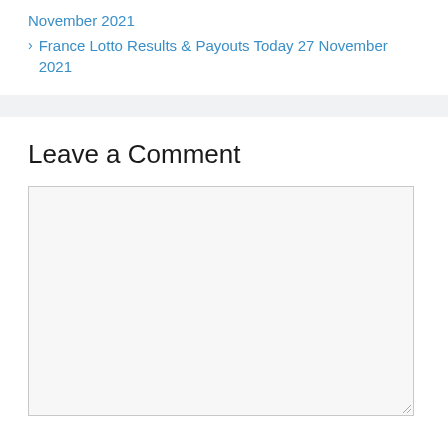November 2021
France Lotto Results & Payouts Today 27 November 2021
Leave a Comment